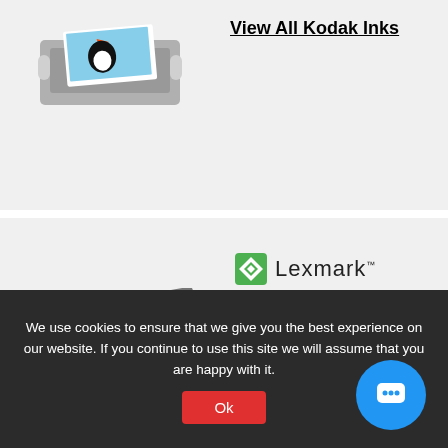[Figure (photo): Kodak printer printing a photo of a puffin bird]
View All Kodak Inks
[Figure (logo): Lexmark logo - green diamond icon with 'Lexmark' text]
[Figure (photo): Lexmark multifunction printer with printed photo visible in output tray]
Lexmark 36XL / 37XL
Lexmark 43XL / 44XL
Lexmark 801HK
Lexmark C734A1KG
Lexmark C736H1CG
We use cookies to ensure that we give you the best experience on our website. If you continue to use this site we will assume that you are happy with it.
Ok